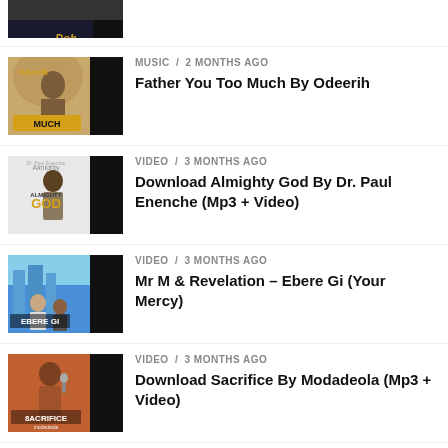[Figure (photo): Partially visible thumbnail of a music/video item at top of page]
MUSIC / 2 months ago
Father You Too Much By Odeerih
VIDEO / 3 months ago
Download Almighty God By Dr. Paul Enenche (Mp3 + Video)
VIDEO / 3 months ago
Mr M & Revelation – Ebere Gi (Your Mercy)
VIDEO / 3 months ago
Download Sacrifice By Modadeola (Mp3 + Video)
MUSIC / 3 months ago
Unchanging God By Lanre Shedowo (Full...